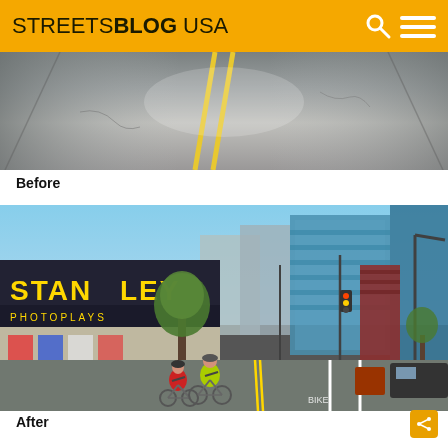STREETSBLOG USA
[Figure (photo): Before photo: aerial/street view of a plain road with yellow center lines, no bike infrastructure, showing cracked pavement.]
Before
[Figure (photo): After photo: street-level view of an urban bike lane with two cyclists riding in the lane, Stanley Photoplays theater on the left, city buildings in background. Protected or painted bike lane visible.]
After